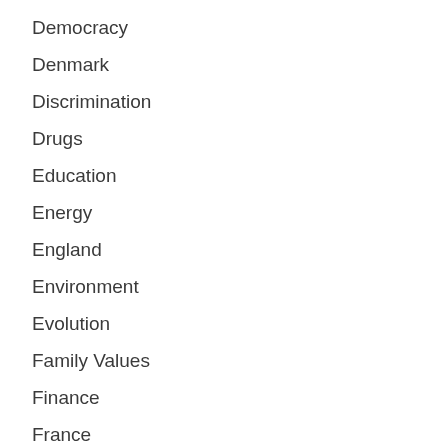Democracy
Denmark
Discrimination
Drugs
Education
Energy
England
Environment
Evolution
Family Values
Finance
France